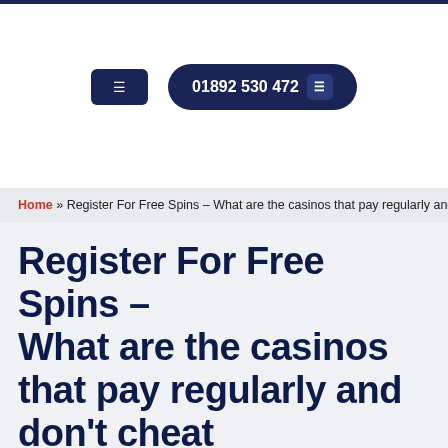Website header with navigation buttons and phone number 01892 530 472
Home » Register For Free Spins – What are the casinos that pay regularly and don't cheat
Register For Free Spins – What are the casinos that pay regularly and don't cheat
Pl... (partial text cut off)